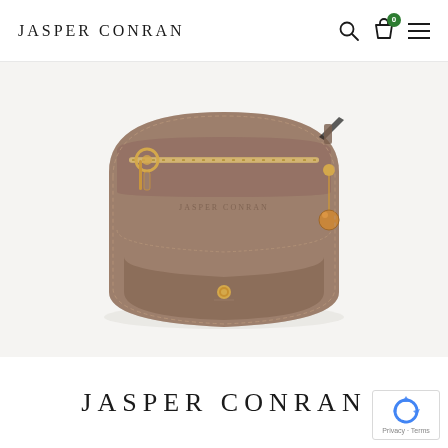JASPER CONRAN
[Figure (photo): A taupe/tan leather crossbody saddle bag by Jasper Conran, featuring gold-tone zipper hardware on the front pocket, a gold-tone D-ring charm/pull, a golden ball drop charm on the side zip, and a bottom stud detail. The bag is photographed against a light background.]
JASPER CONRAN